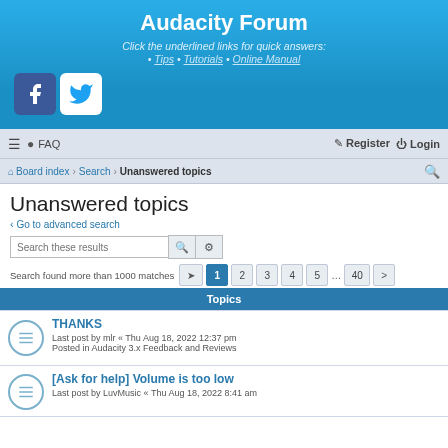Audacity Forum
Click the underlined links for quick answers:
• Tips • Tutorials • Online Manual
[Figure (logo): Facebook and Twitter social media icons]
≡  FAQ    Register   Login
Board index › Search › Unanswered topics
Unanswered topics
‹ Go to advanced search
Search these results
Search found more than 1000 matches  1 2 3 4 5 … 40 >
Topics
THANKS
Last post by mlr « Thu Aug 18, 2022 12:37 pm
Posted in Audacity 3.x Feedback and Reviews
[Ask for help] Volume is too low
Last post by LuvMusic « Thu Aug 18, 2022 8:41 am